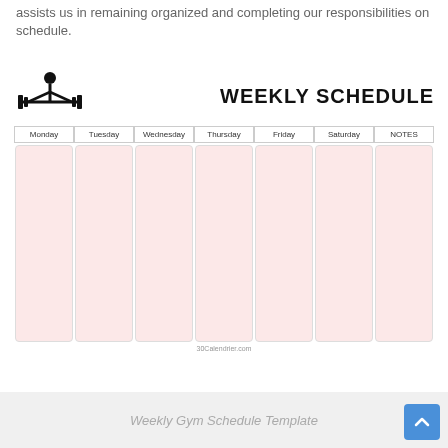assists us in remaining organized and completing our responsibilities on schedule.
[Figure (other): Weekly gym schedule template with a fitness logo (person with barbell) on the left, 'WEEKLY SCHEDULE' title on the right, and a 7-column grid (Monday, Tuesday, Wednesday, Thursday, Friday, Saturday, NOTES) with pink/rose-colored empty cells for filling in workouts. Watermark: 30Calendrier.com]
Weekly Gym Schedule Template